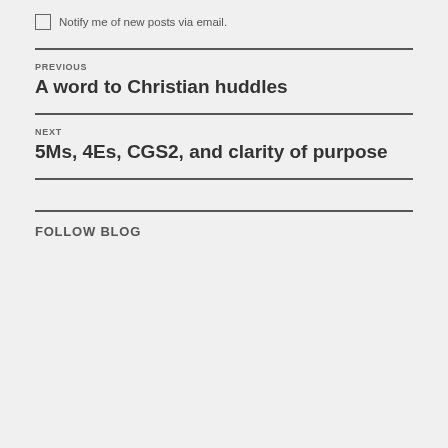Notify me of new posts via email.
PREVIOUS
A word to Christian huddles
NEXT
5Ms, 4Es, CGS2, and clarity of purpose
FOLLOW BLOG